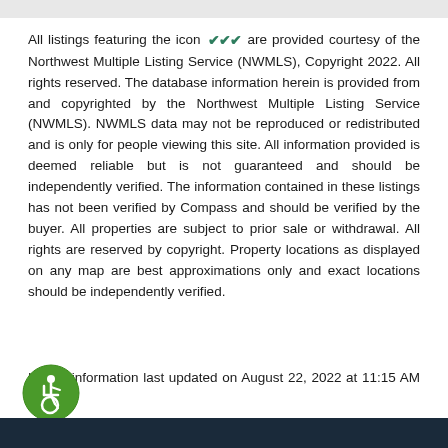All listings featuring the icon [NWMLS icon] are provided courtesy of the Northwest Multiple Listing Service (NWMLS), Copyright 2022. All rights reserved. The database information herein is provided from and copyrighted by the Northwest Multiple Listing Service (NWMLS). NWMLS data may not be reproduced or redistributed and is only for people viewing this site. All information provided is deemed reliable but is not guaranteed and should be independently verified. The information contained in these listings has not been verified by Compass and should be verified by the buyer. All properties are subject to prior sale or withdrawal. All rights are reserved by copyright. Property locations as displayed on any map are best approximations only and exact locations should be independently verified.
Listing information last updated on August 22, 2022 at 11:15 AM PST.
[Figure (logo): Green circular accessibility/wheelchair icon badge]